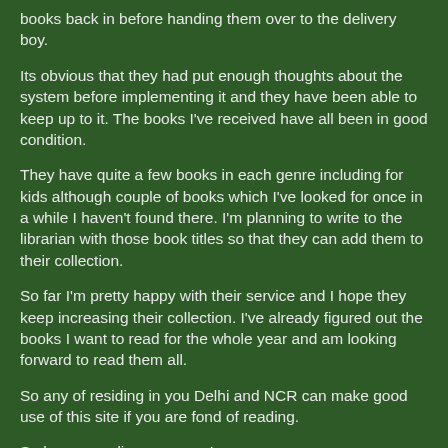books back in before handing them over to the delivery boy.
Its obvious that they had put enough thoughts about the system before implementing it and they have been able to keep up to it. The books I've received have all been in good condition.
They have quite a few books in each genre including for kids although couple of books which I've looked for once in a while I haven't found there. I'm planning to write to the librarian with those book titles so that they can add them to their collection.
So far I'm pretty happy with their service and I hope they keep increasing their collection. I've already figured out the books I want to read for the whole year and am looking forward to read them all.
So any of residing in you Delhi and NCR can make good use of this site if you are fond of reading.
So happy reading everyone!